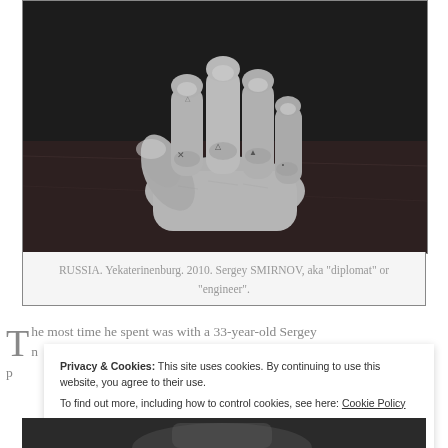[Figure (photo): Black and white photograph of tattooed hands resting on a dark surface, holding or resting on a dark rounded object. The knuckles show tattoo markings.]
RUSSIA. Yekaterinenburg. 2010. Sergey SMIRNOV, aka “diplomat” or “engineer”.
The most time he spent was with a 33-year-old Sergey n... p...
Privacy & Cookies: This site uses cookies. By continuing to use this website, you agree to their use. To find out more, including how to control cookies, see here: Cookie Policy
[Figure (photo): Partial black and white photograph visible at the bottom of the page, cropped.]